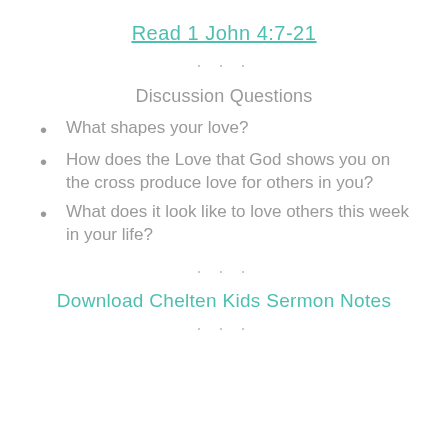Read 1 John 4:7-21
· · ·
Discussion Questions
What shapes your love?
How does the Love that God shows you on the cross produce love for others in you?
What does it look like to love others this week in your life?
· · ·
Download Chelten Kids Sermon Notes
· · ·